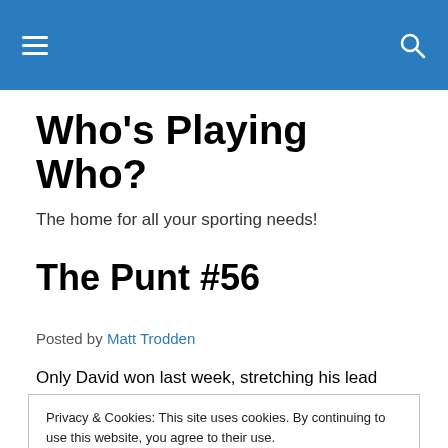Who's Playing Who? [navigation header with hamburger menu and search icon]
Who's Playing Who?
The home for all your sporting needs!
The Punt #56
Posted by Matt Trodden
Only David won last week, stretching his lead over Adrian
Privacy & Cookies: This site uses cookies. By continuing to use this website, you agree to their use. To find out more, including how to control cookies, see here: Cookie Policy
Close and accept